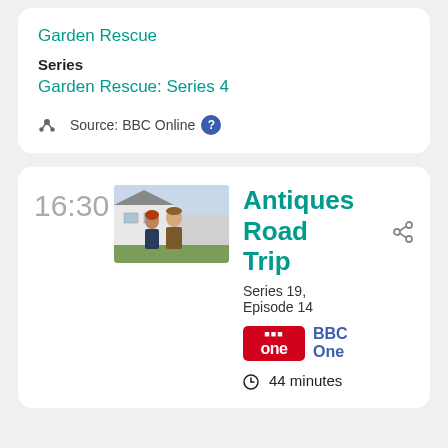Garden Rescue
Series
Garden Rescue: Series 4
Source: BBC Online
16:30
[Figure (photo): Two people (a woman with red hair and a man in a brown jacket) standing outside a white building]
Antiques Road Trip
Series 19, Episode 14
BBC One
44 minutes